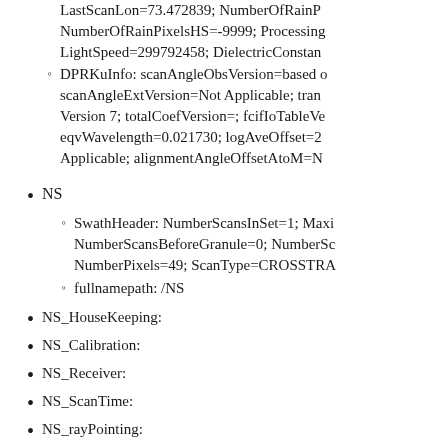LastScanLon=73.472839; NumberOfRainP... NumberOfRainPixelsHS=-9999; Processing... LightSpeed=299792458; DielectricConstan...
DPRKuInfo: scanAngleObsVersion=based o... scanAngleExtVersion=Not Applicable; tran... Version 7; totalCoefVersion=; fcifIoTableVe... eqvWavelength=0.021730; logAveOffset=2... Applicable; alignmentAngleOffsetAtoM=N...
NS
SwathHeader: NumberScansInSet=1; Maxi... NumberScansBeforeGranule=0; NumberSc... NumberPixels=49; ScanType=CROSSTRA...
fullnamepath: /NS
NS_HouseKeeping:
NS_Calibration:
NS_Receiver:
NS_ScanTime:
NS_rayPointing: